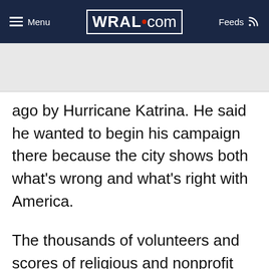Menu | WRAL.com | Feeds
ago by Hurricane Katrina. He said he wanted to begin his campaign there because the city shows both what's wrong and what's right with America.
The thousands of volunteers and scores of religious and nonprofit groups that have helped rebuild the city in recent months illustrate how Americans can work together to solve problems, he said. At the same time, he